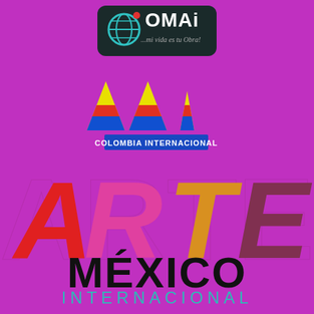[Figure (logo): OMAI logo - dark rounded rectangle with teal circle/globe and 'OMAi' text in white/teal, with tagline 'mi vida es tu Obra!']
[Figure (logo): Colombia Internacional logo - stylized 'MAI' letters with yellow, red, and blue Colombian flag colors forming mountain/triangle shapes, with 'COLOMBIA INTERNACIONAL' text on blue bar beneath]
[Figure (logo): Arte Mexico Internacional logo - large stylized letters ARTE in red, pink, orange/gold, dark magenta; below MEXICO in black bold; below INTERNACIONAL in teal spaced letters]